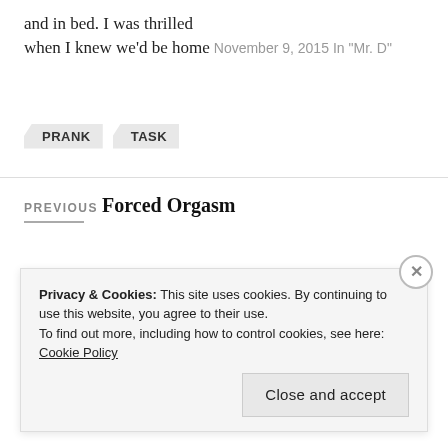and in bed.  I was thrilled when I knew we'd be home
November 9, 2015
In "Mr. D"
PRANK
TASK
PREVIOUS
Forced Orgasm
Privacy & Cookies: This site uses cookies. By continuing to use this website, you agree to their use.
To find out more, including how to control cookies, see here: Cookie Policy
Close and accept